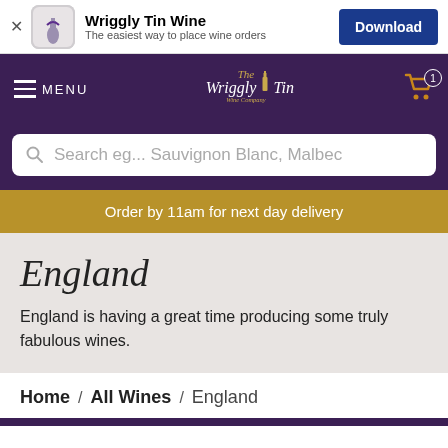[Figure (screenshot): App download banner with Wriggly Tin Wine logo, app name, tagline, and Download button]
[Figure (screenshot): Navigation bar with menu icon, Wriggly Tin Wine Company logo, and cart icon with badge 1]
Search eg... Sauvignon Blanc, Malbec
Order by 11am for next day delivery
England
England is having a great time producing some truly fabulous wines.
Home / All Wines / England